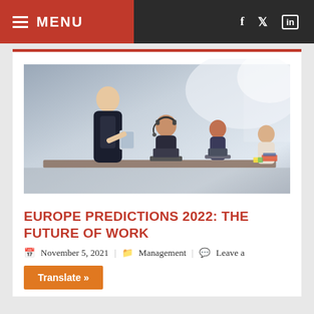MENU
[Figure (photo): Office scene with several young Asian professionals. A man in a suit stands holding a tablet, gesturing to a seated woman wearing a headset. Other colleagues work on laptops in the background in a bright modern office.]
EUROPE PREDICTIONS 2022: THE FUTURE OF WORK
November 5, 2021   Management   Leave a
Translate »